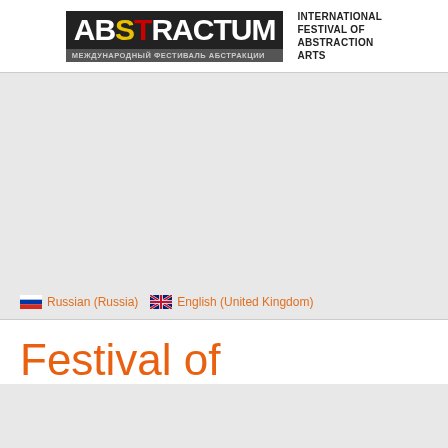[Figure (logo): ABSTRACTUM - International Festival of Abstraction Arts logo with Cyrillic subtitle МЕЖДУНАРОДНЫЙ ФЕСТИВАЛЬ АБСТРАКЦИИ]
Russian (Russia)   English (United Kingdom)
Festival of